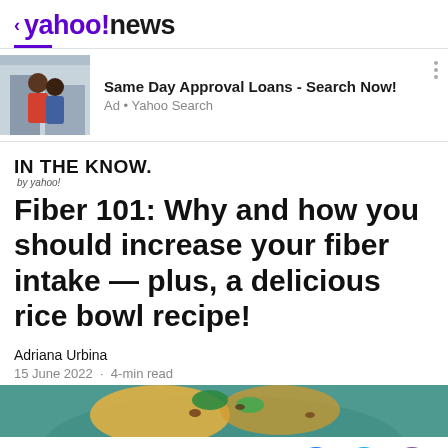< yahoo!news
[Figure (photo): Advertisement banner with a couple photo. Text reads: Same Day Approval Loans - Search Now! Ad • Yahoo Search]
IN THE KNOW.
by yahoo!
Fiber 101: Why and how you should increase your fiber intake — plus, a delicious rice bowl recipe!
Adriana Urbina
15 June 2022 · 4-min read
[Figure (photo): Partial image of a rice bowl with vegetables and herbs on a teal/green plate background]
View comments